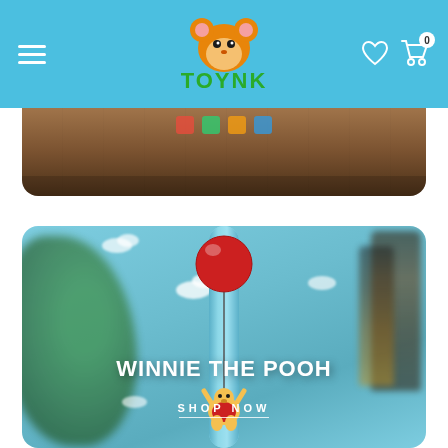Toynk navigation bar with hamburger menu, Toynk logo, heart icon, and cart icon with badge 0
[Figure (photo): Partial product photo showing top of a wooden surface with colorful toy/game items, partially cut off at bottom]
[Figure (photo): Winnie the Pooh promotional banner showing a light blue tumbler with red balloon and Winnie the Pooh character, overlaid with text WINNIE THE POOH and SHOP NOW, with blurred plant and bottles in background]
WINNIE THE POOH
SHOP NOW